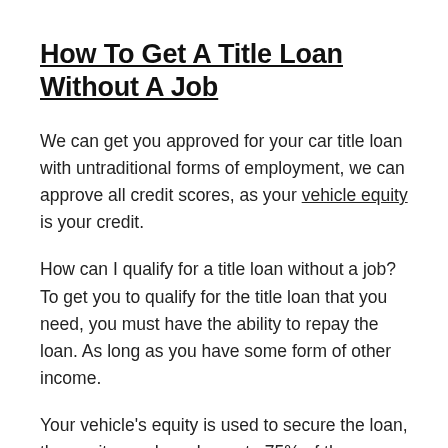How To Get A Title Loan Without A Job
We can get you approved for your car title loan with untraditional forms of employment, we can approve all credit scores, as your vehicle equity is your credit.
How can I qualify for a title loan without a job? To get you to qualify for the title loan that you need, you must have the ability to repay the loan. As long as you have some form of other income.
Your vehicle's equity is used to secure the loan, the equity used can be up to 75% of the wholesale value, so there is enough security for the lender.